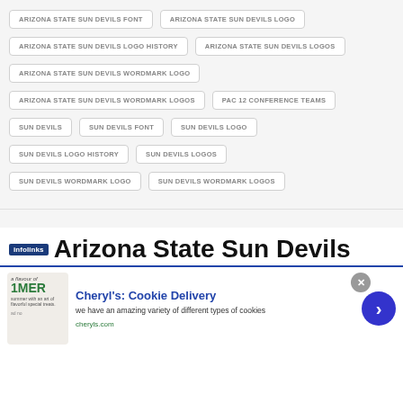ARIZONA STATE SUN DEVILS FONT
ARIZONA STATE SUN DEVILS LOGO
ARIZONA STATE SUN DEVILS LOGO HISTORY
ARIZONA STATE SUN DEVILS LOGOS
ARIZONA STATE SUN DEVILS WORDMARK LOGO
ARIZONA STATE SUN DEVILS WORDMARK LOGOS
PAC 12 CONFERENCE TEAMS
SUN DEVILS
SUN DEVILS FONT
SUN DEVILS LOGO
SUN DEVILS LOGO HISTORY
SUN DEVILS LOGOS
SUN DEVILS WORDMARK LOGO
SUN DEVILS WORDMARK LOGOS
Arizona State Sun Devils
Cheryl's: Cookie Delivery
we have an amazing variety of different types of cookies
cheryls.com